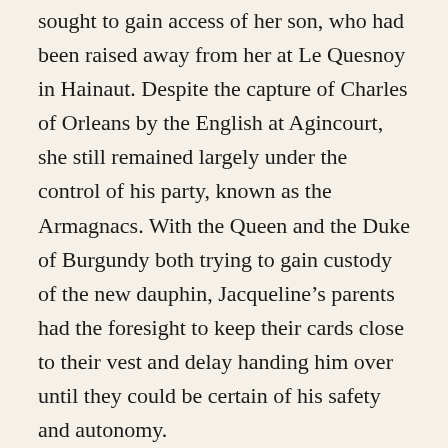sought to gain access of her son, who had been raised away from her at Le Quesnoy in Hainaut. Despite the capture of Charles of Orleans by the English at Agincourt, she still remained largely under the control of his party, known as the Armagnacs. With the Queen and the Duke of Burgundy both trying to gain custody of the new dauphin, Jacqueline’s parents had the foresight to keep their cards close to their vest and delay handing him over until they could be certain of his safety and autonomy.
Yet, despite their good intentions, Jean’s time as the dauphin would be short. He died in Compiègne on April 5, 1417 from an abscess in his ear and his younger brother, the future Charles VII, became the next